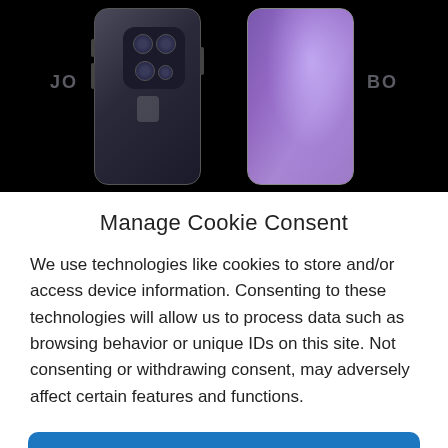[Figure (photo): Photo showing two iPhone 14 Pro smartphones in deep purple color, displayed side by side against a black background. The left phone shows the back with the camera module visible, and the right phone shows the front/side with a glowing purple light effect. A semi-transparent watermark text is overlaid across the image.]
Manage Cookie Consent
We use technologies like cookies to store and/or access device information. Consenting to these technologies will allow us to process data such as browsing behavior or unique IDs on this site. Not consenting or withdrawing consent, may adversely affect certain features and functions.
Accept
Cookie Policy